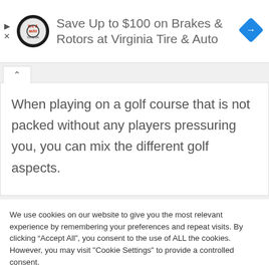[Figure (logo): Advertisement banner for Virginia Tire & Auto with circular logo, text 'Save Up to $100 on Brakes & Rotors at Virginia Tire & Auto', and a blue diamond navigation icon.]
When playing on a golf course that is not packed without any players pressuring you, you can mix the different golf aspects.
We use cookies on our website to give you the most relevant experience by remembering your preferences and repeat visits. By clicking “Accept All”, you consent to the use of ALL the cookies. However, you may visit "Cookie Settings" to provide a controlled consent.